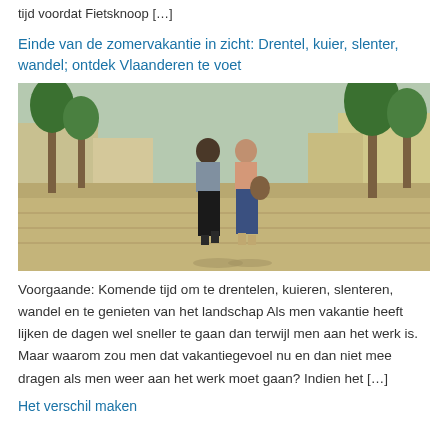tijd voordat Fietsknoop […]
Einde van de zomervakantie in zicht: Drentel, kuier, slenter, wandel; ontdek Vlaanderen te voet
[Figure (photo): Two women walking away from the camera down a tree-lined pedestrian street with brick pavement and buildings on both sides.]
Voorgaande: Komende tijd om te drentelen, kuieren, slenteren, wandel en te genieten van het landschap Als men vakantie heeft lijken de dagen wel sneller te gaan dan terwijl men aan het werk is. Maar waarom zou men dat vakantiegevoel nu en dan niet mee dragen als men weer aan het werk moet gaan? Indien het […]
Het verschil maken